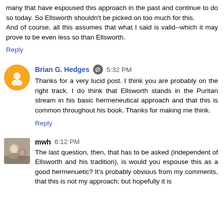many that have espoused this approach in the past and continue to do so today. So Ellsworth shouldn't be picked on too much for this.
And of course, all this assumes that what I said is valid--which it may prove to be even less so than Ellsworth.
Reply
Brian G. Hedges  5:32 PM
Thanks for a very lucid post. I think you are probably on the right track. I do think that Ellsworth stands in the Puritan stream in his basic hermeneutical approach and that this is common throughout his book. Thanks for making me think.
Reply
mwh  6:12 PM
The last question, then, that has to be asked (independent of Ellsworth and his tradition), is would you espouse this as a good hermenuetic? It's probably obvious from my comments, that this is not my approach; but hopefully it is